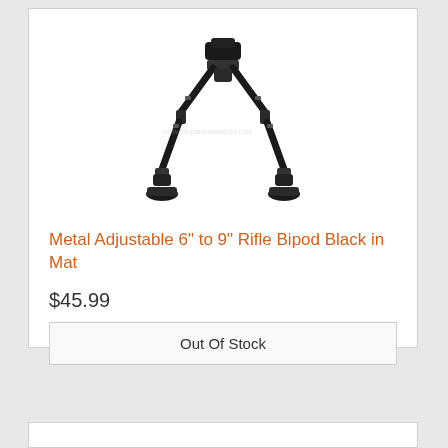[Figure (photo): A metal adjustable rifle bipod in matte black finish, with two extendable legs spread apart and rubber feet, shown against a white background.]
Metal Adjustable 6" to 9" Rifle Bipod Black in Mat
$45.99
Out Of Stock